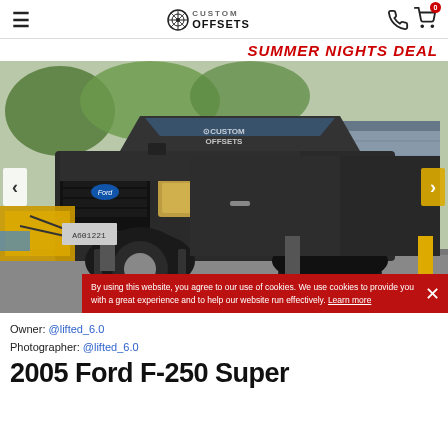Custom Offsets
SUMMER NIGHTS DEAL
[Figure (photo): A lifted 2005 Ford F-250 Super Duty truck photographed from a low front-left angle, showing large off-road tires and lifted suspension, parked in a driveway with a house in the background. Custom Offsets watermark visible on windshield.]
By using this website, you agree to our use of cookies. We use cookies to provide you with a great experience and to help our website run effectively. Learn more
Owner: @lifted_6.0
Photographer: @lifted_6.0
2005 Ford F-250 Super